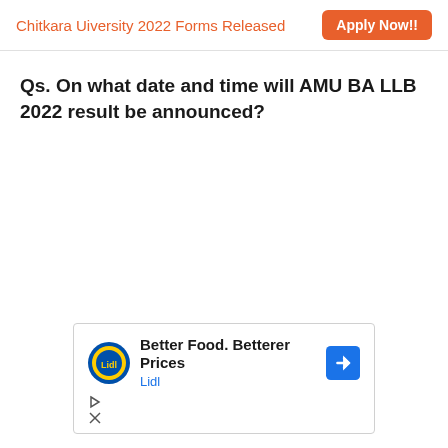Chitkara Uiversity 2022 Forms Released  Apply Now!!
Qs. On what date and time will AMU BA LLB 2022 result be announced?
[Figure (other): Lidl advertisement banner: 'Better Food. Betterer Prices' with Lidl logo]